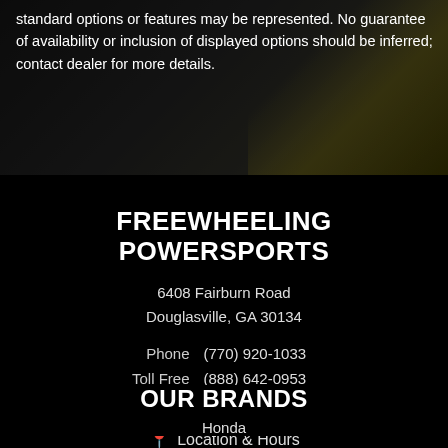standard options or features may be represented. No guarantee of availability or inclusion of displayed options should be inferred; contact dealer for more details.
FREEWHEELING POWERSPORTS
6408 Fairburn Road
Douglasville, GA 30134
Phone    (770) 920-1033
Toll Free   (888) 642-0953
Service       (770) 920-1033
📍 Location & Hours
OUR BRANDS
Honda